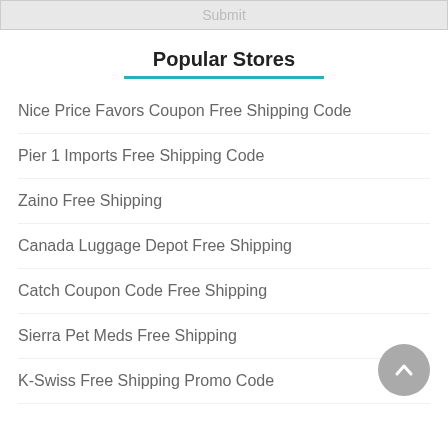Submit
Popular Stores
Nice Price Favors Coupon Free Shipping Code
Pier 1 Imports Free Shipping Code
Zaino Free Shipping
Canada Luggage Depot Free Shipping
Catch Coupon Code Free Shipping
Sierra Pet Meds Free Shipping
K-Swiss Free Shipping Promo Code